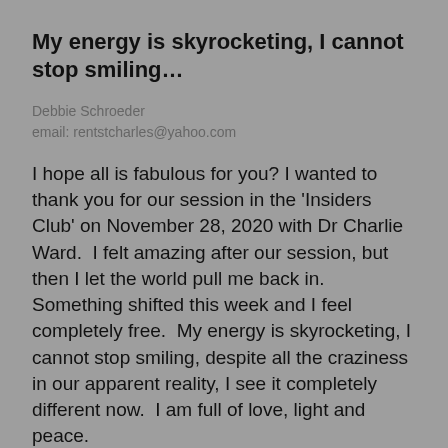My energy is skyrocketing, I cannot stop smiling…
Debbie Schroeder
email: rentstcharles@yahoo.com
I hope all is fabulous for you? I wanted to thank you for our session in the 'Insiders Club' on November 28, 2020 with Dr Charlie Ward.  I felt amazing after our session, but then I let the world pull me back in.  Something shifted this week and I feel completely free.  My energy is skyrocketing, I cannot stop smiling, despite all the craziness in our apparent reality, I see it completely different now.  I am full of love, light and peace.